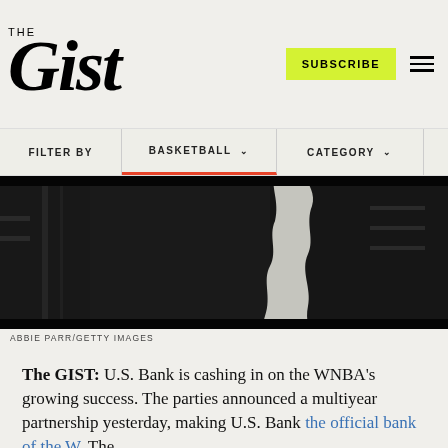THE GIST
[Figure (photo): Dark basketball-themed photo with WNBA silhouette imagery in black tones with white accent shape]
ABBIE PARR/GETTY IMAGES
The GIST: U.S. Bank is cashing in on the WNBA's growing success. The parties announced a multiyear partnership yesterday, making U.S. Bank the official bank of the W. The